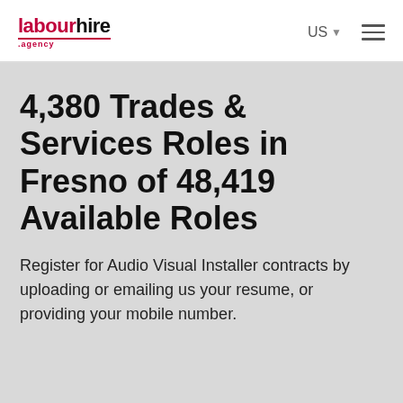labourhire agency | US ☰
4,380 Trades & Services Roles in Fresno of 48,419 Available Roles
Register for Audio Visual Installer contracts by uploading or emailing us your resume, or providing your mobile number.